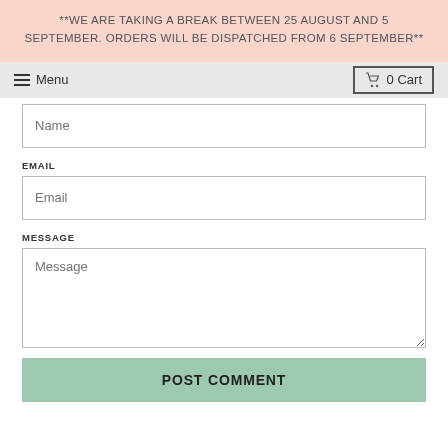**WE ARE TAKING A BREAK BETWEEN 25 AUGUST AND 5 SEPTEMBER. ORDERS WILL BE DISPATCHED FROM 6 SEPTEMBER**
Menu   0 Cart
Name
EMAIL
Email
MESSAGE
Message
POST COMMENT